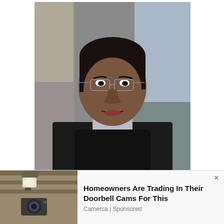[Figure (photo): Close-up photo of Dr. Harsha de Silva MP, a man wearing glasses and a dark jacket, looking forward with mouth slightly open, photographed outdoors against a stone wall background.]
Dr. Harsha de Silva MP
In his speech in the parliament on July 22, Dr. Harsha has remarked while the government has spent millions on renovating and the grand
[Figure (photo): Advertisement image showing a doorbell camera on a stone wall with a light fixture. Ad text: 'Homeowners Are Trading In Their Doorbell Cams For This' by Camerca | Sponsored]